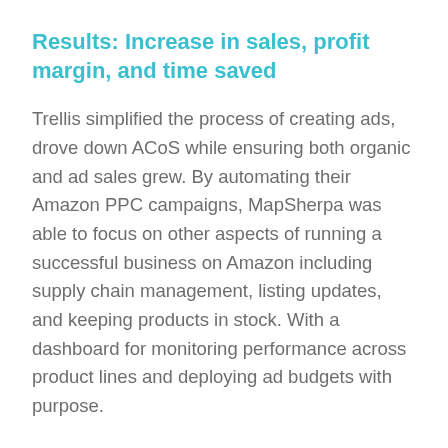Results: Increase in sales, profit margin, and time saved
Trellis simplified the process of creating ads, drove down ACoS while ensuring both organic and ad sales grew. By automating their Amazon PPC campaigns, MapSherpa was able to focus on other aspects of running a successful business on Amazon including supply chain management, listing updates, and keeping products in stock. With a dashboard for monitoring performance across product lines and deploying ad budgets with purpose.
“Thanks to Trellis I’ve reduced my ad spend by